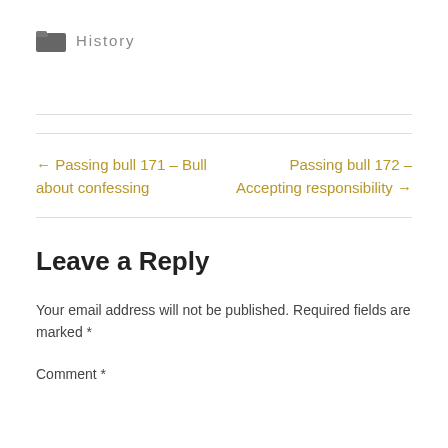History
← Passing bull 171 – Bull about confessing
Passing bull 172 – Accepting responsibility →
Leave a Reply
Your email address will not be published. Required fields are marked *
Comment *